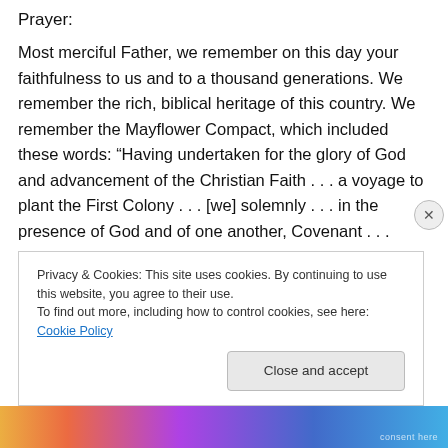Prayer:
Most merciful Father, we remember on this day your faithfulness to us and to a thousand generations. We remember the rich, biblical heritage of this country. We remember the Mayflower Compact, which included these words: “Having undertaken for the glory of God and advancement of the Christian Faith . . . a voyage to plant the First Colony . . . [we] solemnly . . . in the presence of God and of one another, Covenant . . . ourselves together into a Civil Body Politic. . . ” We remember that you are the
Privacy & Cookies: This site uses cookies. By continuing to use this website, you agree to their use.
To find out more, including how to control cookies, see here: Cookie Policy